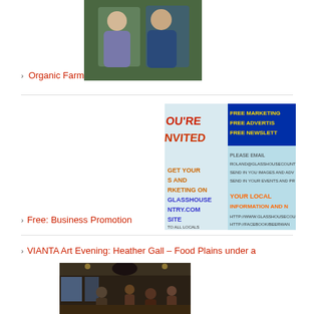[Figure (photo): Two people (elderly couple) standing outdoors in front of green foliage]
Organic Farm
[Figure (infographic): Colorful promotional banner: YOU'RE INVITED - FREE MARKETING FREE ADVERTISING FREE NEWSLETTER - GET YOUR ADS AND MARKETING ON GLASSHOUSE COUNTRY.COM WEBSITE - TO ALL LOCALS - PLEASE EMAIL ROLAND@GLASSHOUSECOUNTRY - YOUR LOCAL INFORMATION AND NEWS - HTTP://WWW.GLASSHOUSECOUNTRY... HTTP://FACEBOOK/BEERWAN]
Free: Business Promotion
VIANTA Art Evening: Heather Gall – Food Plains under a
[Figure (photo): Interior of a venue/restaurant with people gathered, dark lighting, ceiling lights visible]